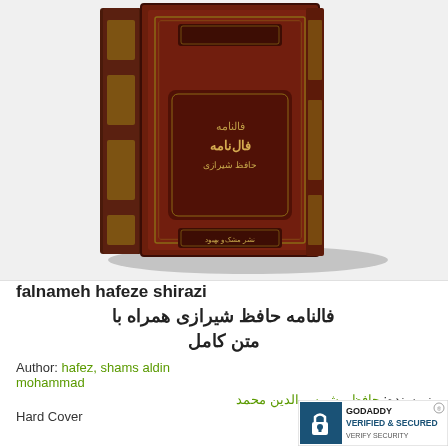[Figure (photo): Photo of a dark brown ornate hardcover book titled 'Falnameh Hafeze Shirazi' with Persian/Arabic script and gold embossed decorations on its cover and spine]
falnameh hafeze shirazi
فالنامه حافظ شیرازی همراه با متن کامل
Author: hafez, shams aldin mohammad
نویسنده: حافظ ، شمس الدین محمد
Hard Cover